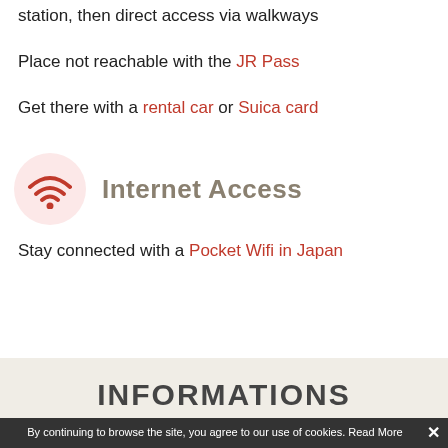station, then direct access via walkways
Place not reachable with the JR Pass
Get there with a rental car or Suica card
Internet Access
Stay connected with a Pocket Wifi in Japan
INFORMATIONS
By continuing to browse the site, you agree to our use of cookies. Read More